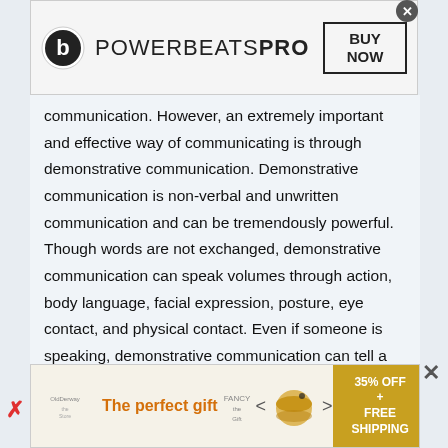[Figure (other): Advertisement banner for Powerbeats Pro with Beats logo, brand name, and BUY NOW button with close X]
communication. However, an extremely important and effective way of communicating is through demonstrative communication. Demonstrative communication is non-verbal and unwritten communication and can be tremendously powerful. Though words are not exchanged, demonstrative communication can speak volumes through action, body language, facial expression, posture, eye contact, and physical contact. Even if someone is speaking, demonstrative communication can tell a completely different story than the words coming out of one's mouth. For demonstrative communication to be effective, it should be in alignment with the intent of the message that is being delivered or received. When out of alignment, demonstrative
[Figure (other): Advertisement banner for 'The perfect gift' with bowl image, navigation arrows, and '35% OFF + FREE SHIPPING' offer in gold box]